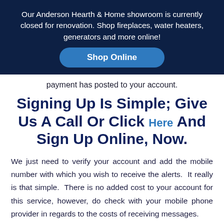Our Anderson Hearth & Home showroom is currently closed for renovation. Shop fireplaces, water heaters, generators and more online!
Shop Online
payment has posted to your account.
Signing Up Is Simple; Give Us A Call Or Click Here And Sign Up Online, Now.
We just need to verify your account and add the mobile number with which you wish to receive the alerts.  It really is that simple.  There is no added cost to your account for this service, however, do check with your mobile phone provider in regards to the costs of receiving messages.